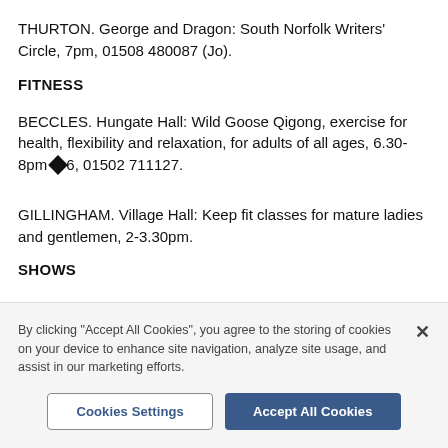THURTON. George and Dragon: South Norfolk Writers' Circle, 7pm, 01508 480087 (Jo).
FITNESS
BECCLES. Hungate Hall: Wild Goose Qigong, exercise for health, flexibility and relaxation, for adults of all ages, 6.30-8pm ◆6, 01502 711127.
GILLINGHAM. Village Hall: Keep fit classes for mature ladies and gentlemen, 2-3.30pm.
SHOWS
By clicking "Accept All Cookies", you agree to the storing of cookies on your device to enhance site navigation, analyze site usage, and assist in our marketing efforts.